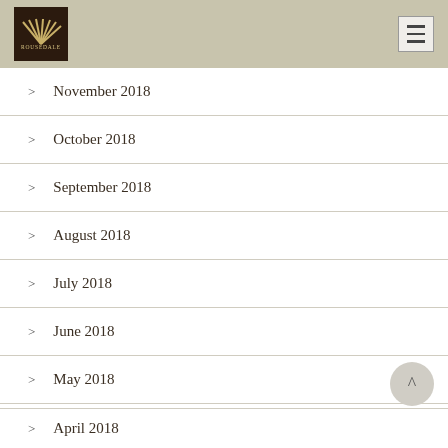[Figure (logo): Rousedale logo - dark brown box with sun/fan design and text ROUSEDALE]
November 2018
October 2018
September 2018
August 2018
July 2018
June 2018
May 2018
April 2018